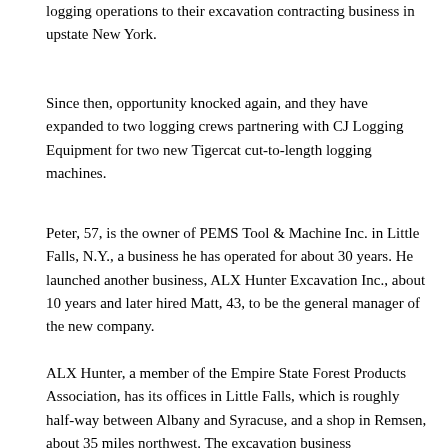logging operations to their excavation contracting business in upstate New York.
Since then, opportunity knocked again, and they have expanded to two logging crews partnering with CJ Logging Equipment for two new Tigercat cut-to-length logging machines.
Peter, 57, is the owner of PEMS Tool & Machine Inc. in Little Falls, N.Y., a business he has operated for about 30 years. He launched another business, ALX Hunter Excavation Inc., about 10 years and later hired Matt, 43, to be the general manager of the new company.
ALX Hunter, a member of the Empire State Forest Products Association, has its offices in Little Falls, which is roughly half-way between Albany and Syracuse, and a shop in Remsen, about 35 miles northwest. The excavation business